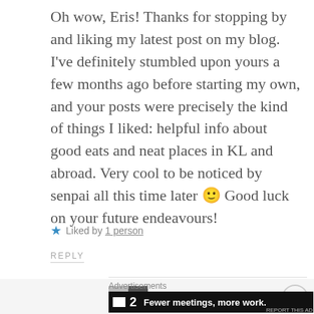Oh wow, Eris! Thanks for stopping by and liking my latest post on my blog. I've definitely stumbled upon yours a few months ago before starting my own, and your posts were precisely the kind of things I liked: helpful info about good eats and neat places in KL and abroad. Very cool to be noticed by senpai all this time later 🙂 Good luck on your future endeavours!
★ Liked by 1 person
REPLY
Eris
Advertisements
Fewer meetings, more work.